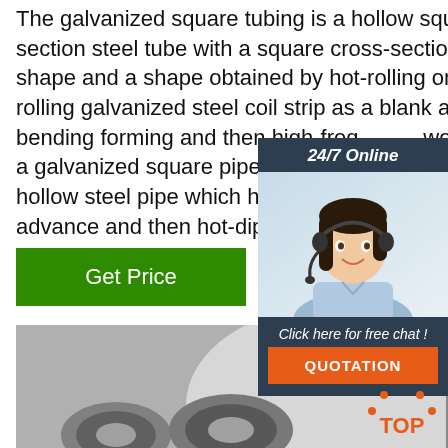The galvanized square tubing is a hollow square section steel tube with a square cross-sectional shape and a shape obtained by hot-rolling or cold-rolling galvanized steel coil strip as a blank after cold bending forming and then high-frequency welding. Or a galvanized square pipe made of cold-formed hollow steel pipe which has been prepared in advance and then hot-dip ga...
[Figure (other): Chat widget showing woman with headset, 24/7 Online label, Click here for free chat text, and QUOTATION button]
[Figure (other): Green Get Price button]
[Figure (photo): Photo of stacked steel wire rod coils bundled together in a warehouse]
[Figure (other): TOP navigation icon with orange dots and text]